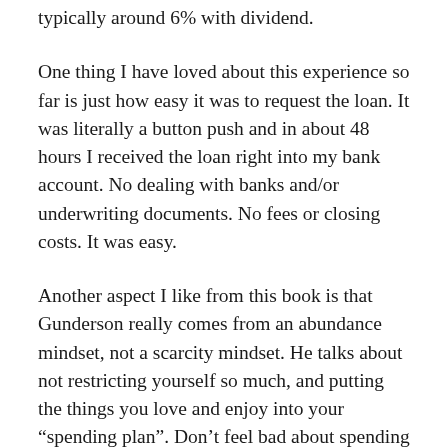typically around 6% with dividend.
One thing I have loved about this experience so far is just how easy it was to request the loan. It was literally a button push and in about 48 hours I received the loan right into my bank account. No dealing with banks and/or underwriting documents. No fees or closing costs. It was easy.
Another aspect I like from this book is that Gunderson really comes from an abundance mindset, not a scarcity mindset. He talks about not restricting yourself so much, and putting the things you love and enjoy into your “spending plan”. Don’t feel bad about spending and living for today, but at the same time have a respect for your future and legacy that you’d like to leave.